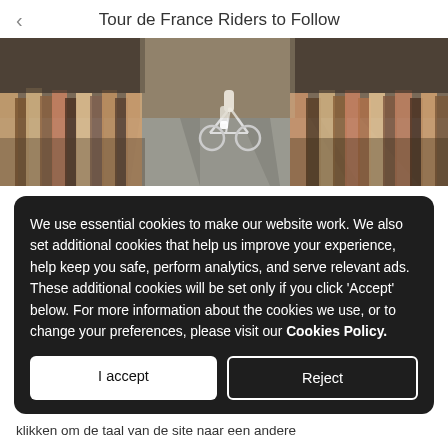Tour de France Riders to Follow
[Figure (photo): Crowd of spectators lining a road with a lone cyclist passing through, shot from a low angle on a sunny day.]
We use essential cookies to make our website work. We also set additional cookies that help us improve your experience, help keep you safe, perform analytics, and serve relevant ads. These additional cookies will be set only if you click 'Accept' below. For more information about the cookies we use, or to change your preferences, please visit our Cookies Policy.
I accept
Reject
klikken om de taal van de site naar een andere